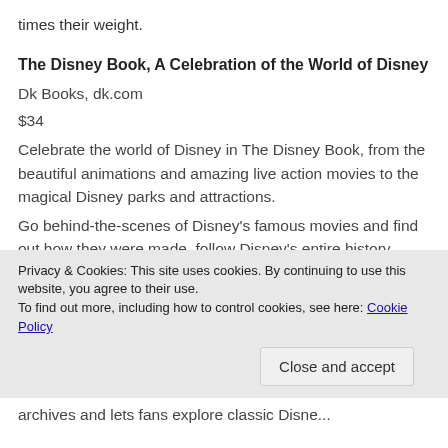times their weight.
The Disney Book, A Celebration of the World of Disney
Dk Books, dk.com
$34
Celebrate the world of Disney in The Disney Book, from the beautiful animations and amazing live action movies to the magical Disney parks and attractions.
Go behind-the-scenes of Disney's famous movies and find out how they were made, follow Disney's entire history using the timeline, and marvel at
Privacy & Cookies: This site uses cookies. By continuing to use this website, you agree to their use. To find out more, including how to control cookies, see here: Cookie Policy
Close and accept
archives and lets fans explore classic Disne...